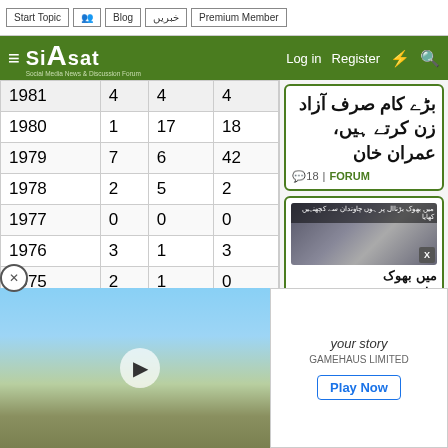Start Topic | Blog | خبریں | Premium Member | Log in | Register
[Figure (screenshot): Siasat.pk website header with logo, navigation links (Log in, Register), hamburger menu, and icons]
| Year | Col1 | Col2 | Col3 |
| --- | --- | --- | --- |
| 1981 | 4 | 4 | 4 |
| 1980 | 1 | 17 | 18 |
| 1979 | 7 | 6 | 42 |
| 1978 | 2 | 5 | 2 |
| 1977 | 0 | 0 | 0 |
| 1976 | 3 | 1 | 3 |
| 1975 | 2 | 1 | 0 |
| 1974 | 2 | 0 | 2 |
بڑے کام صرف آزاد زن کرتے ہیں، عمران خان
18 | FORUM
[Figure (photo): Group of people, video thumbnail with X close button]
میں بھوک بڑناال پر ہوں چاوندان سے کچھنہیں کھایا
your story
GAMEHAUS LIMITED
Play Now